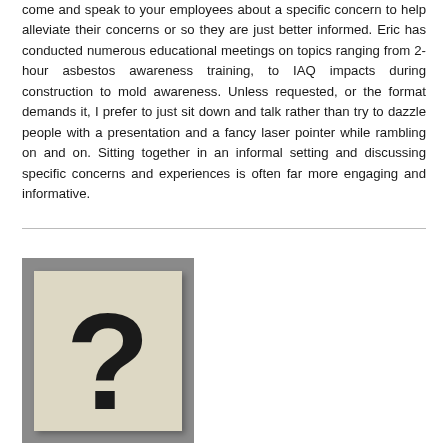come and speak to your employees about a specific concern to help alleviate their concerns or so they are just better informed. Eric has conducted numerous educational meetings on topics ranging from 2-hour asbestos awareness training, to IAQ impacts during construction to mold awareness. Unless requested, or the format demands it, I prefer to just sit down and talk rather than try to dazzle people with a presentation and a fancy laser pointer while rambling on and on. Sitting together in an informal setting and discussing specific concerns and experiences is often far more engaging and informative.
[Figure (photo): A photograph of a physical sign or board with a large black question mark printed on a cream/beige background, placed on a gray surface.]